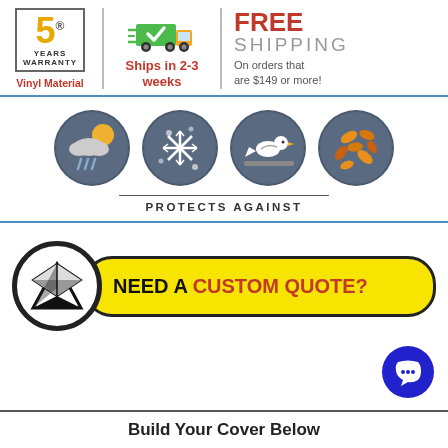[Figure (infographic): 5 Years Warranty badge with yellow '5', 'YEARS WARRANTY' text, Vinyl Material label in red below]
[Figure (infographic): Green delivery truck with checkmark icon, 'Ships in 2-3 weeks' in red bold text]
[Figure (infographic): FREE SHIPPING text with 'On orders that are $149 or more!' text]
[Figure (infographic): Four circular weather icons: rain/sun, snowflakes, bird on branch, autumn leaves. 'PROTECTS AGAINST' label below]
[Figure (infographic): Mail/envelope icon in black circle and yellow banner reading 'NEED A CUSTOM QUOTE?']
[Figure (infographic): Blue chat bubble icon in bottom right]
Build Your Cover Below